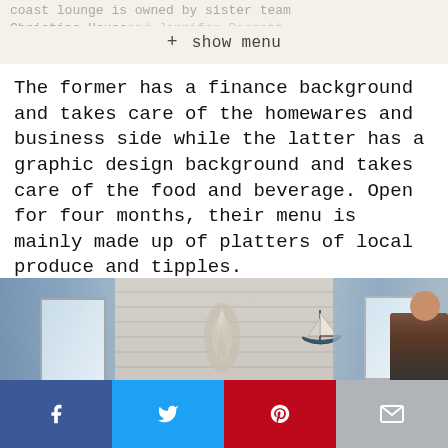coast lounge is owned by sister team Christine House and Jennifer Barrett.
The former has a finance background and takes care of the homewares and business side while the latter has a graphic design background and takes care of the food and beverage. Open for four months, their menu is mainly made up of platters of local produce and tipples.
[Figure (photo): Interior of a coastal lounge/cafe showing blue curtains on the left framing a large window, a white horizontal-panelled wall in the background with a decorative shell wreath and a hanging sailboat model, a window on the right with a roman blind, and a person partially visible at the far right.]
Social share bar with Facebook, Twitter, Pinterest, and Email buttons